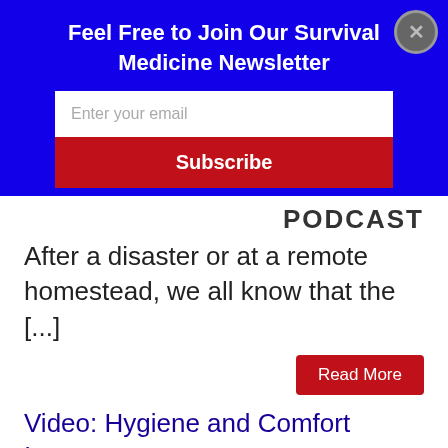Feel Free to Join Our Survival Medicine Newsletter
Enter your email
Subscribe
PODCAST
After a disaster or at a remote homestead, we all know that the [...]
Read More
Video: Hygiene and Comfort Issues
3 Apr 2018 | gpldev